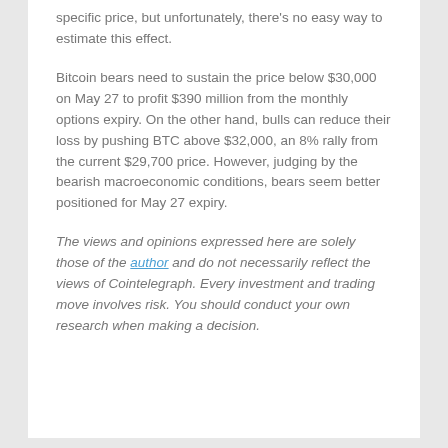specific price, but unfortunately, there's no easy way to estimate this effect.
Bitcoin bears need to sustain the price below $30,000 on May 27 to profit $390 million from the monthly options expiry. On the other hand, bulls can reduce their loss by pushing BTC above $32,000, an 8% rally from the current $29,700 price. However, judging by the bearish macroeconomic conditions, bears seem better positioned for May 27 expiry.
The views and opinions expressed here are solely those of the author and do not necessarily reflect the views of Cointelegraph. Every investment and trading move involves risk. You should conduct your own research when making a decision.